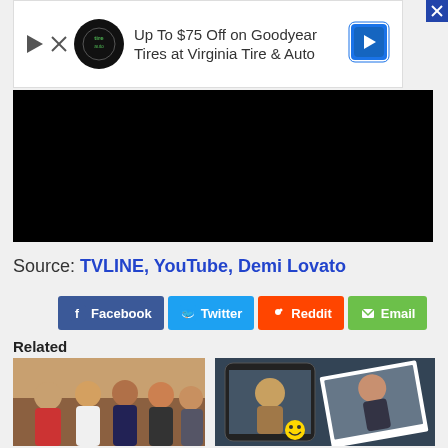[Figure (other): Advertisement banner: Up To $75 Off on Goodyear Tires at Virginia Tire & Auto]
[Figure (other): Dark/black video player area]
Source: TVLINE, YouTube, Demi Lovato
[Figure (other): Social share buttons: Facebook, Twitter, Reddit, Email]
Related
[Figure (photo): Group photo of people sitting together]
[Figure (photo): Phone and printed photo collage]